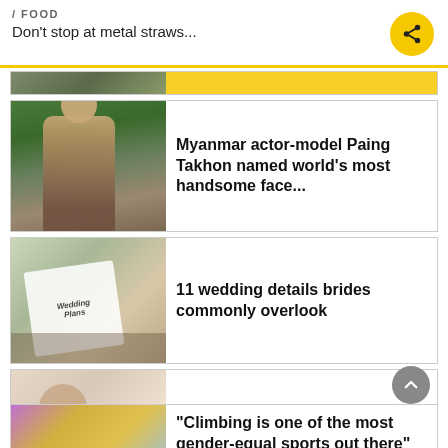/ FOOD
Don't stop at metal straws...
Myanmar actor-model Paing Takhon named world's most handsome face...
11 wedding details brides commonly overlook
5 New Year resolutions to make for your home in 2022
"Climbing is one of the most gender-equal sports out there"